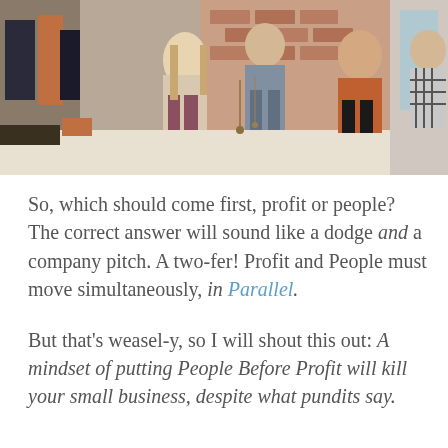[Figure (photo): Retail shop interior scene with several people browsing merchandise including bags, accessories, and clothing on racks. Brick wall in background.]
So, which should come first, profit or people? The correct answer will sound like a dodge and a company pitch. A two-fer! Profit and People must move simultaneously, in Parallel.
But that's weasel-y, so I will shout this out: A mindset of putting People Before Profit will kill your small business, despite what pundits say.